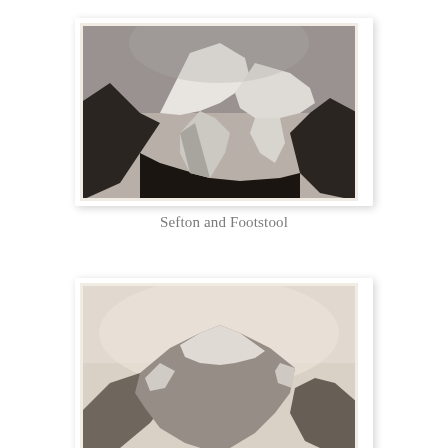[Figure (photo): Black and white photograph of snow-capped mountains Sefton and Footstool, with dark rocky slopes in the foreground and a glacier visible between the peaks.]
Sefton and Footstool
[Figure (photo): Sepia-toned photograph showing mountain peaks with snow and rocky ridges, partially obscured by mist or cloud. Only the upper portion of the image is visible as the photo is cropped at the bottom of the page.]